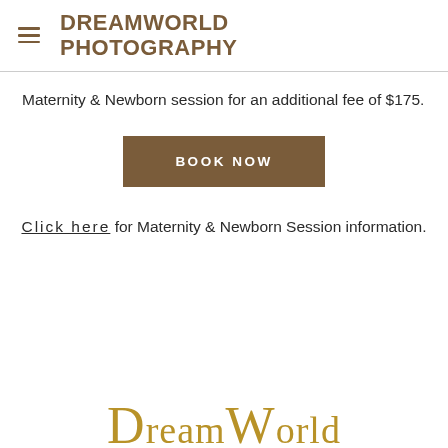DREAMWORLD PHOTOGRAPHY
Maternity & Newborn session for an additional fee of $175.
BOOK NOW
Click here for Maternity & Newborn Session information.
[Figure (logo): DreamWorld logo text in gold serif font at bottom of page]